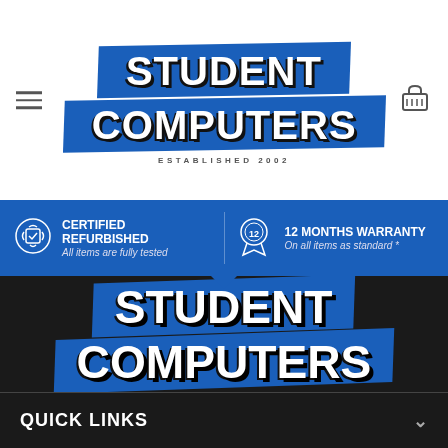[Figure (logo): Student Computers logo with blue badge background, white bold text 'STUDENT COMPUTERS' with black shadow, 'ESTABLISHED 2002' in small caps below]
CERTIFIED REFURBISHED
All items are fully tested
12 MONTHS WARRANTY
On all items as standard *
[Figure (logo): Student Computers logo large on dark background, blue angled badge, bold white text with shadow, 'ESTABLISHED 2002' below]
QUICK LINKS